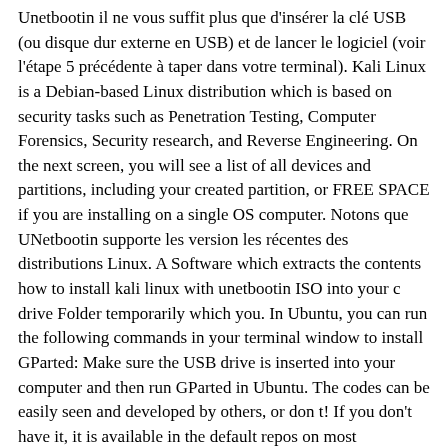Unetbootin il ne vous suffit plus que d'insérer la clé USB (ou disque dur externe en USB) et de lancer le logiciel (voir l'étape 5 précédente à taper dans votre terminal). Kali Linux is a Debian-based Linux distribution which is based on security tasks such as Penetration Testing, Computer Forensics, Security research, and Reverse Engineering. On the next screen, you will see a list of all devices and partitions, including your created partition, or FREE SPACE if you are installing on a single OS computer. Notons que UNetbootin supporte les version les récentes des distributions Linux. A Software which extracts the contents how to install kali linux with unetbootin ISO into your c drive Folder temporarily which you. In Ubuntu, you can run the following commands in your terminal window to install GParted: Make sure the USB drive is inserted into your computer and then run GParted in Ubuntu. The codes can be easily seen and developed by others, or don t! If you don't have it, it is available in the default repos on most distributions. It is a free bootable image creator. Simply point and click through the remainder of the wizard, and when it is installed, simply reboot. How to Make